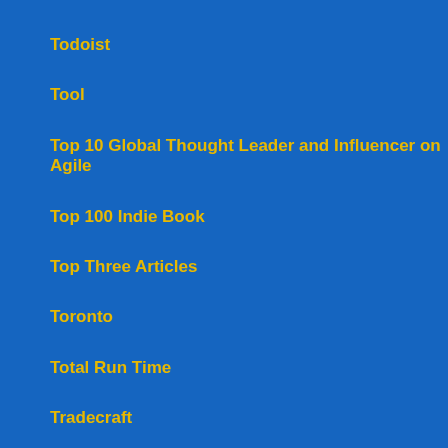Todoist
Tool
Top 10 Global Thought Leader and Influencer on Agile
Top 100 Indie Book
Top Three Articles
Toronto
Total Run Time
Tradecraft
Tradecraft